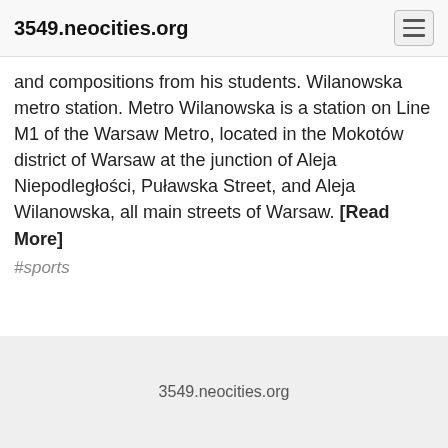3549.neocities.org
and compositions from his students. Wilanowska metro station. Metro Wilanowska is a station on Line M1 of the Warsaw Metro, located in the Mokotów district of Warsaw at the junction of Aleja Niepodległości, Puławska Street, and Aleja Wilanowska, all main streets of Warsaw. [Read More]
#sports
3549.neocities.org